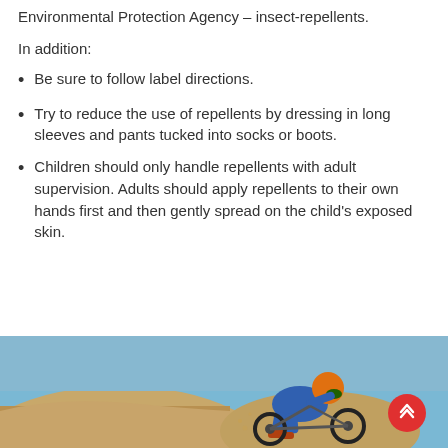Environmental Protection Agency – insect-repellents.
In addition:
Be sure to follow label directions.
Try to reduce the use of repellents by dressing in long sleeves and pants tucked into socks or boots.
Children should only handle repellents with adult supervision. Adults should apply repellents to their own hands first and then gently spread on the child's exposed skin.
[Figure (photo): Motocross rider in orange and blue gear racing on a dirt track, with a red scroll-to-top button overlay.]